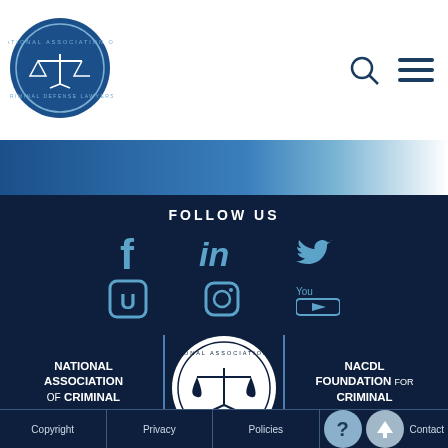[Figure (logo): NACDL circular logo with scales of justice on blue background]
[Figure (logo): Search icon (magnifying glass)]
[Figure (logo): Hamburger menu icon]
FOLLOW US
[Figure (other): Social media icons: Facebook, LinkedIn, Twitter, U (NACDL), Instagram, YouTube]
NATIONAL ASSOCIATION OF CRIMINAL DEFENSE LAWYERS
[Figure (logo): NACDL circular logo white on dark background]
NACDL FOUNDATION FOR CRIMINAL JUSTICE
1660 L St. NW, 12th Floor , Washington, DC 20036
Phone: (202) 872-8600 / Fax: (202) 872-8690
Copyright | Privacy | Policies | Contact